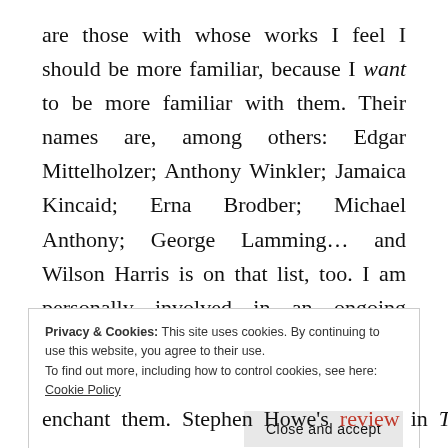are those with whose works I feel I should be more familiar, because I want to be more familiar with them. Their names are, among others: Edgar Mittelholzer; Anthony Winkler; Jamaica Kincaid; Erna Brodber; Michael Anthony; George Lamming… and Wilson Harris is on that list, too. I am personally involved in an ongoing relationship with his mesmerizing, ensorcelling first novel The Palace of the Peacock. The thought of being unmoved by that particular literary journey is terrifying to me—you know, of being someone who
Privacy & Cookies: This site uses cookies. By continuing to use this website, you agree to their use. To find out more, including how to control cookies, see here: Cookie Policy
Close and accept
enchant them. Stephen Howe's review in The